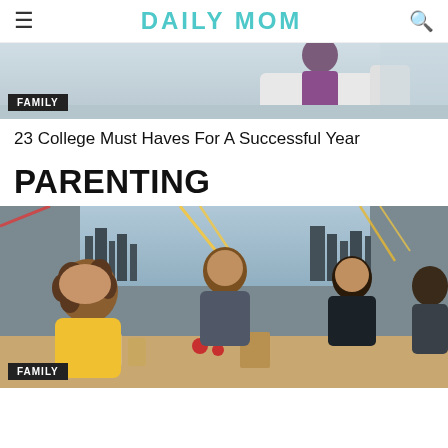DAILY MOM
[Figure (photo): Top portion of an image showing a child in a purple/pink outfit against a light background]
FAMILY
23 College Must Haves For A Successful Year
PARENTING
[Figure (photo): A woman with curly hair in a yellow top playing a board game with two children at a table, with a city skyline visible through large windows and colorful streamers in the background]
FAMILY